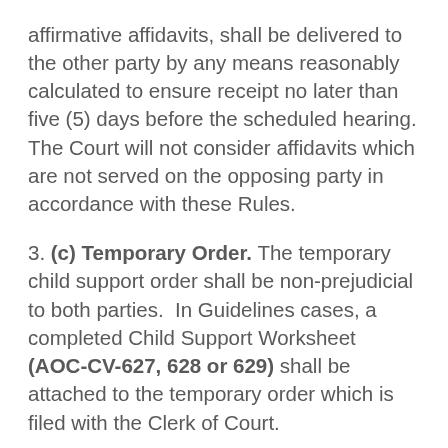affirmative affidavits, shall be delivered to the other party by any means reasonably calculated to ensure receipt no later than five (5) days before the scheduled hearing. The Court will not consider affidavits which are not served on the opposing party in accordance with these Rules.
3. (c) Temporary Order. The temporary child support order shall be non-prejudicial to both parties. In Guidelines cases, a completed Child Support Worksheet (AOC-CV-627, 628 or 629) shall be attached to the temporary order which is filed with the Clerk of Court.
4. (d) Dismissal of Temporary Child Support Claim. If a party asserts a claim for temporary child support, he or she